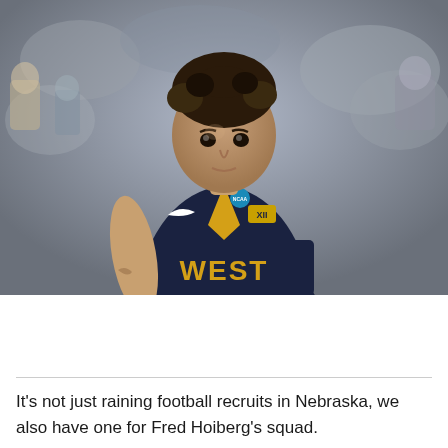[Figure (photo): A West Virginia University basketball player in a dark navy jersey with gold 'WEST' lettering and Big XII logo, wearing an NCAA tournament badge, looking upward with curly hair, photographed during a game with blurred crowd in background.]
It's not just raining football recruits in Nebraska, we also have one for Fred Hoiberg's squad.